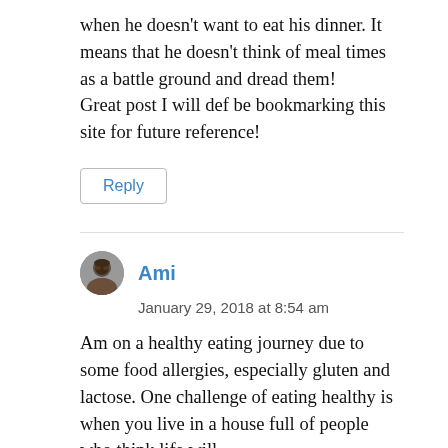when he doesn't want to eat his dinner. It means that he doesn't think of meal times as a battle ground and dread them!
Great post I will def be bookmarking this site for future reference!
Reply
Ami
January 29, 2018 at 8:54 am
Am on a healthy eating journey due to some food allergies, especially gluten and lactose. One challenge of eating healthy is when you live in a house full of people who think life will